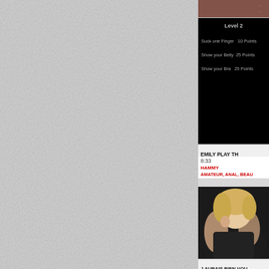[Figure (screenshot): Gray textured background filling left portion of page]
[Figure (screenshot): Dark video screenshot showing game level 2 with point values: Suck one Finger 10 Points, Show your Belly 25 Points, Show your Bra 25 Points]
EMILY PLAY TH
8:33
HAMMY
AMATEUR, ANAL, BEAU
[Figure (photo): Blonde woman in black top]
J AURAIS BIEN VOU
4:25
HUBO
ANAL, SHEMALE, TEEN,